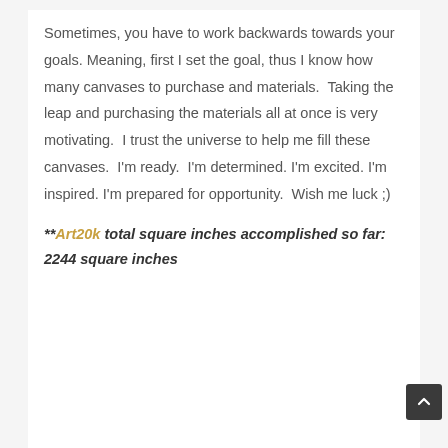Sometimes, you have to work backwards towards your goals. Meaning, first I set the goal, thus I know how many canvases to purchase and materials.  Taking the leap and purchasing the materials all at once is very motivating.  I trust the universe to help me fill these canvases.  I'm ready.  I'm determined. I'm excited. I'm inspired. I'm prepared for opportunity.  Wish me luck ;)
**Art20k total square inches accomplished so far: 2244 square inches